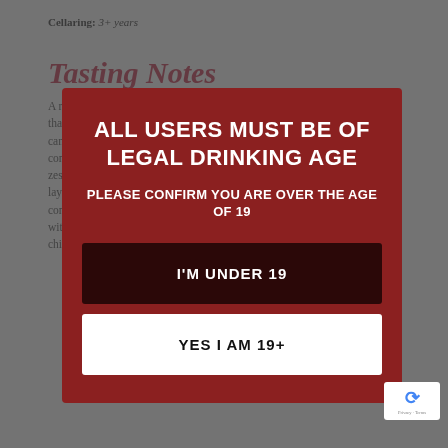Cellaring: 3+ years
Tasting Notes
A restrained, crisp and fresh Chardonnay that showcases notes of fresh stone fruit, cantaloupe melon, peach fruit with complex popcorn, hazelnut, and lemon ... zest, nectarine, peach and some interesting layers of flavours of savoury lees and fruit complexity that unfold in the glass. Pair this with halibut sautéed in butter or rotisserie chicken. Rhys Pender, Master of Wine
ALL USERS MUST BE OF LEGAL DRINKING AGE
PLEASE CONFIRM YOU ARE OVER THE AGE OF 19
I'M UNDER 19
YES I AM 19+